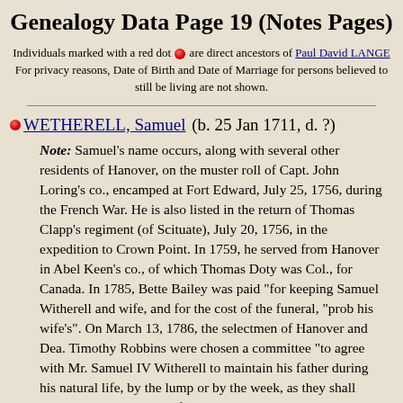Genealogy Data Page 19 (Notes Pages)
Individuals marked with a red dot are direct ancestors of Paul David LANGE For privacy reasons, Date of Birth and Date of Marriage for persons believed to still be living are not shown.
WETHERELL, Samuel (b. 25 Jan 1711, d. ?)
Note: Samuel's name occurs, along with several other residents of Hanover, on the muster roll of Capt. John Loring's co., encamped at Fort Edward, July 25, 1756, during the French War. He is also listed in the return of Thomas Clapp's regiment (of Scituate), July 20, 1756, in the expedition to Crown Point. In 1759, he served from Hanover in Abel Keen's co., of which Thomas Doty was Col., for Canada. In 1785, Bette Bailey was paid "for keeping Samuel Witherell and wife, and for the cost of the funeral, "prob his wife's". On March 13, 1786, the selectmen of Hanover and Dea. Timothy Robbins were chosen a committee "to agree with Mr. Samuel IV Witherell to maintain his father during his natural life, by the lump or by the week, as they shall agree, and pay him out of the town's money."